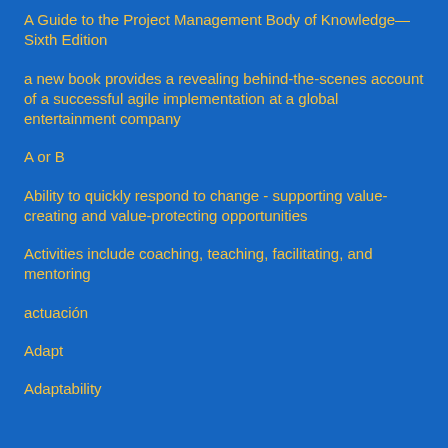A Guide to the Project Management Body of Knowledge—Sixth Edition
a new book provides a revealing behind-the-scenes account of a successful agile implementation at a global entertainment company
A or B
Ability to quickly respond to change - supporting value-creating and value-protecting opportunities
Activities include coaching, teaching, facilitating, and mentoring
actuación
Adapt
Adaptability